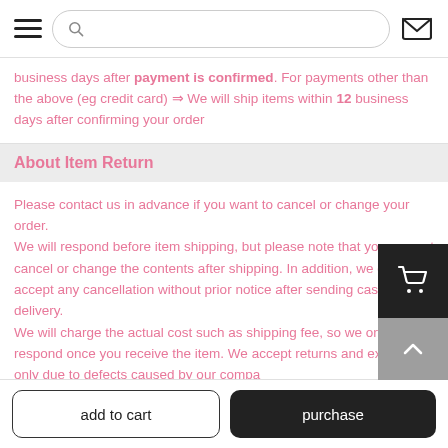[Navigation bar with hamburger menu, search bar, and mail icon]
business days after payment is confirmed. For payments other than the above (eg credit card) ⇒ We will ship items within 12 business days after confirming your order
About Item Return
Please contact us in advance if you want to cancel or change your order.
We will respond before item shipping, but please note that you can not cancel or change the contents after shipping. In addition, we can not accept any cancellation without prior notice after sending cash on delivery.
We will charge the actual cost such as shipping fee, so we only respond once you receive the item. We accept returns and exchanges only due to defects caused by our comp
add to cart | purchase